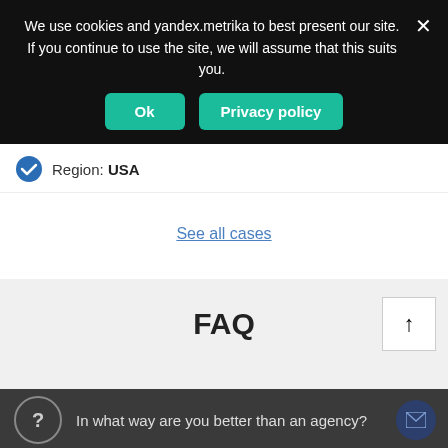We use cookies and yandex.metrika to best present our site. If you continue to use the site, we will assume that this suits you.
Ok
Privacy policy
Region: USA
See all cases
FAQ
In what way are you better than an agency?